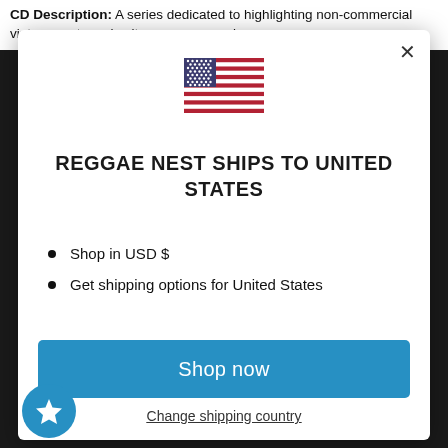CD Description: A series dedicated to highlighting non-commercial vintage roots and culture reggae music.
[Figure (screenshot): Modal dialog popup with US flag, title 'Reggae Nest ships to United States', bullet points for USD and shipping options, a blue 'Shop now' button, and a 'Change shipping country' link]
Reggae Nest ships to United States
Shop in USD $
Get shipping options for United States
Shop now
Change shipping country